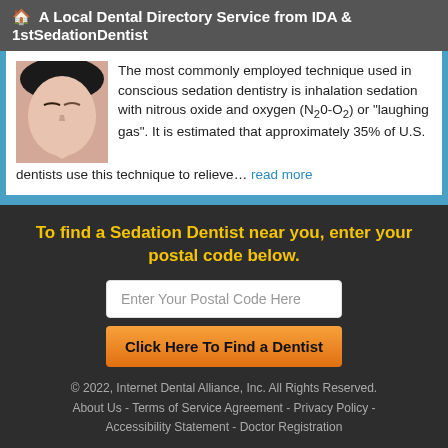🏠 A Local Dental Directory Service from IDA & 1stSedationDentist
[Figure (photo): Close-up photo of a woman's face with eyes closed, appearing relaxed or sedated]
The most commonly employed technique used in conscious sedation dentistry is inhalation sedation with nitrous oxide and oxygen (N₂0-O₂) or "laughing gas". It is estimated that approximately 35% of U.S. dentists use this technique to relieve… read more
To find a Sedation Dentist near you, enter your postal code below.
Enter Your Postal Code Here
Click Here To Find a Dentist
© 2022, Internet Dental Alliance, Inc. All Rights Reserved.
About Us - Terms of Service Agreement - Privacy Policy - Accessibility Statement - Doctor Registration